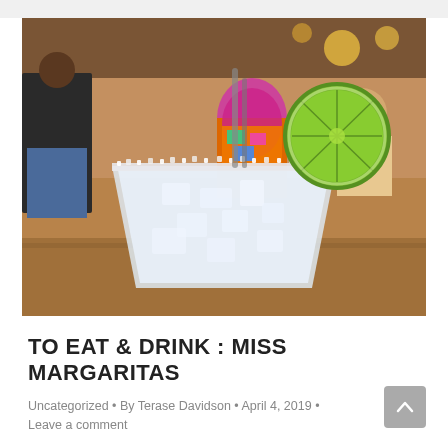[Figure (photo): Close-up photo of a margarita cocktail in a glass with a salted rim and a lime wedge garnish, set on a wooden table in a busy bar/restaurant background with people in the background.]
TO EAT & DRINK : MISS MARGARITAS
Uncategorized • By Terase Davidson • April 4, 2019 • Leave a comment